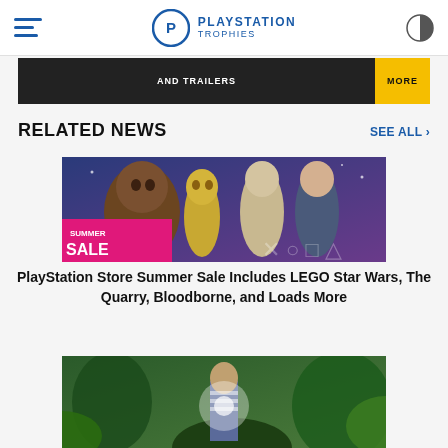PlayStation Trophies
[Figure (screenshot): Ad banner with dark background, 'AND TRAILERS' text in center, and yellow 'MORE' button on right]
RELATED NEWS
SEE ALL >
[Figure (screenshot): LEGO Star Wars characters (Chewbacca, C-3PO, Luke Skywalker, Han Solo) with 'SUMMER SALE' pink banner overlay]
PlayStation Store Summer Sale Includes LEGO Star Wars, The Quarry, Bloodborne, and Loads More
[Figure (screenshot): Game screenshot showing a character in a forest/jungle setting with light effect]